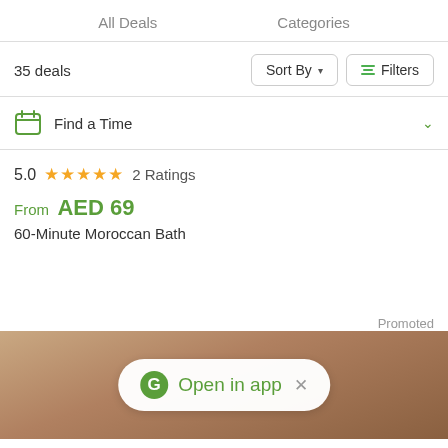All Deals   Categories
35 deals
Sort By
Filters
Find a Time
5.0 ★★★★★ 2 Ratings
From AED 69
60-Minute Moroccan Bath
Promoted
[Figure (screenshot): Spa treatment scene with person receiving massage, with Open in app banner overlay]
Open in app